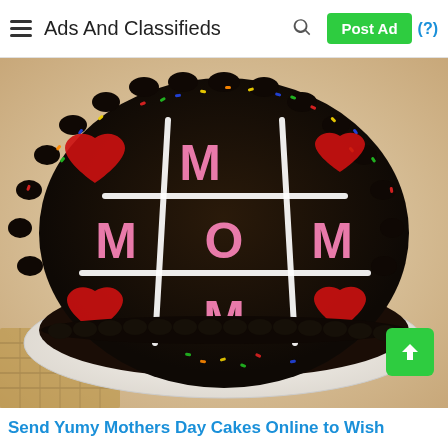Ads And Classifieds  Post Ad (?)
[Figure (photo): A round chocolate cake decorated with dark chocolate frosting, white piped grid lines forming a tic-tac-toe pattern. Pink fondant letters M, O, M are placed in the grid cells along with red fondant hearts. Colorful sprinkles rim the edge of the cake. The cake sits on a white plate on a bamboo mat.]
Send Yumy Mothers Day Cakes Online to Wish